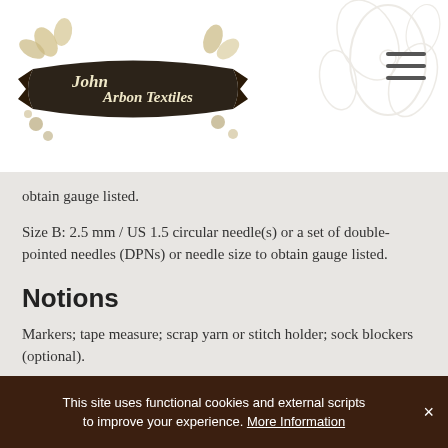John Arbon Textiles
obtain gauge listed.
Size B: 2.5 mm / US 1.5 circular needle(s) or a set of double-pointed needles (DPNs) or needle size to obtain gauge listed.
Notions
Markers; tape measure; scrap yarn or stitch holder; sock blockers (optional).
Gauge
This site uses functional cookies and external scripts to improve your experience. More Information